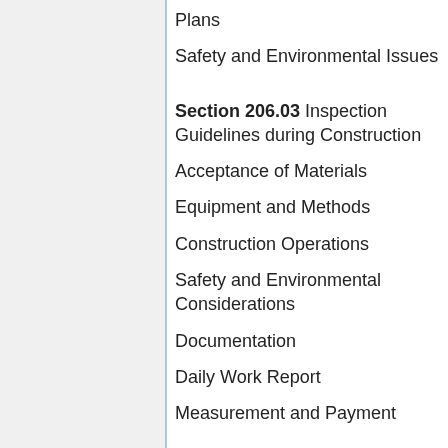Plans
Safety and Environmental Issues
Section 206.03 Inspection Guidelines during Construction
Acceptance of Materials
Equipment and Methods
Construction Operations
Safety and Environmental Considerations
Documentation
Daily Work Report
Measurement and Payment
Section 206.04 Post Construction Considerations